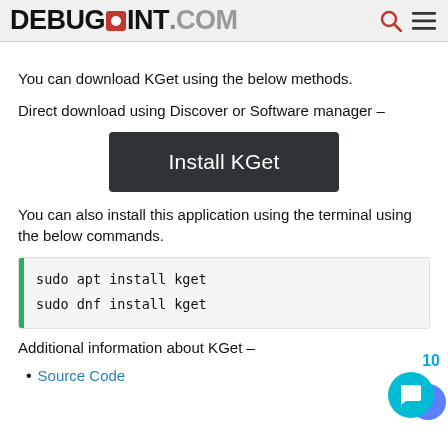DEBUGPOINT.COM
You can download KGet using the below methods.
Direct download using Discover or Software manager –
[Figure (other): Dark button labeled 'Install KGet']
You can also install this application using the terminal using the below commands.
sudo apt install kget
sudo dnf install kget
Additional information about KGet –
Source Code